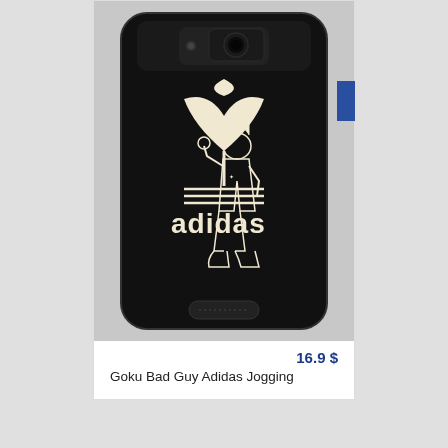[Figure (photo): A black smartphone case featuring a Goku character in Adidas-style illustration. The case shows Goku wearing a black tracksuit with an Adidas trefoil logo and the word 'adidas' printed on it. The phone case has a camera cutout at the top and a speaker grille at the bottom.]
16.9 $
Goku Bad Guy Adidas Jogging